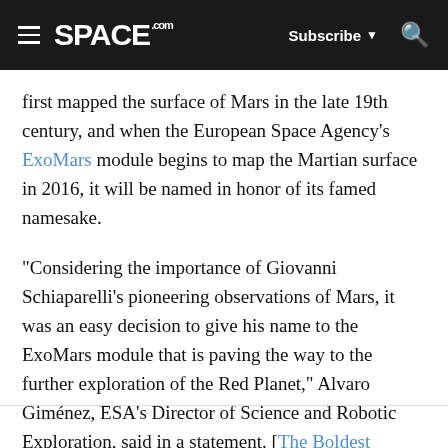SPACE.com — Subscribe ▼ 🔍
first mapped the surface of Mars in the late 19th century, and when the European Space Agency's ExoMars module begins to map the Martian surface in 2016, it will be named in honor of its famed namesake.
"Considering the importance of Giovanni Schiaparelli's pioneering observations of Mars, it was an easy decision to give his name to the ExoMars module that is paving the way to the further exploration of the Red Planet," Alvaro Giménez, ESA's Director of Science and Robotic Exploration, said in a statement. [The Boldest Missions to Mars of All Time]